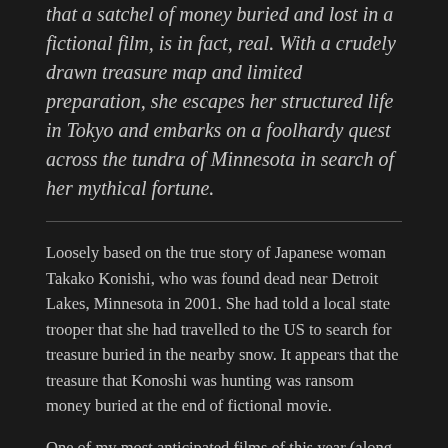that a satchel of money buried and lost in a fictional film, is in fact, real. With a crudely drawn treasure map and limited preparation, she escapes her structured life in Tokyo and embarks on a foolhardy quest across the tundra of Minnesota in search of her mythical fortune.
Loosely based on the true story of Japanese woman Takako Konishi, who was found dead near Detroit Lakes, Minnesota in 2001. She had told a local state trooper that she had travelled to the US to search for treasure buried in the nearby snow. It appears that the treasure that Konoshi was hunting was ransom money buried at the end of fictional movie.
One of my most anticipated films of this year (along with the equally excellent White God), Kumiko The Treasure Hunter is billed as 'a Zellner Bros. adventure' and it certainly lives up to it's billing. David Zellner takes on writing and directing duties as well as portraying the